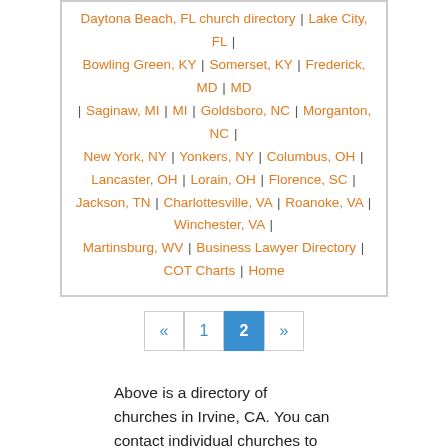Daytona Beach, FL church directory | Lake City, FL | Bowling Green, KY | Somerset, KY | Frederick, MD | MD | Saginaw, MI | MI | Goldsboro, NC | Morganton, NC | New York, NY | Yonkers, NY | Columbus, OH | Lancaster, OH | Lorain, OH | Florence, SC | Jackson, TN | Charlottesville, VA | Roanoke, VA | Winchester, VA | Martinsburg, WV | Business Lawyer Directory | COT Charts | Home
« 1 2 »
Above is a directory of churches in Irvine, CA. You can contact individual churches to find out more information about their service details.